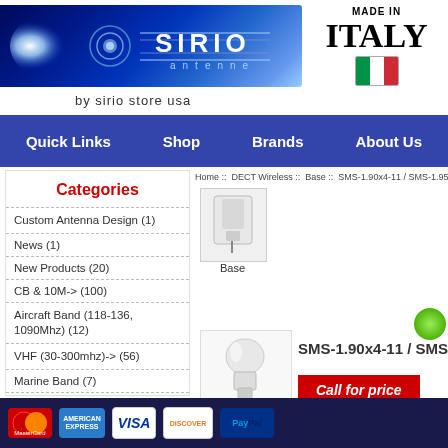[Figure (logo): Sirio Antenne logo banner with blue gradient background and glowing light effect]
[Figure (logo): Made in Italy text with Italian flag]
by sirio store usa
Quick Links   Shop   Brands   About Us
Home :: DECT Wireless :: Base :: SMS-1.90x4-11 / SMS-1.95 D
Categories
Custom Antenna Design (1)
News (1)
New Products (20)
CB & 10M-> (100)
Aircraft Band (118-136, 1090Mhz) (12)
VHF (30-300mhz)-> (56)
Marine Band (7)
UHF (0.3-3 GHz)-> (33)
[Figure (photo): Small thumbnail of white base antenna product]
Base
[Figure (photo): White cylindrical antenna product image]
SMS-1.90x4-11 / SMS-1.5
Call for price
[Figure (logo): Payment method logos: MasterCard, American Express, Visa, Discover, PayPal]